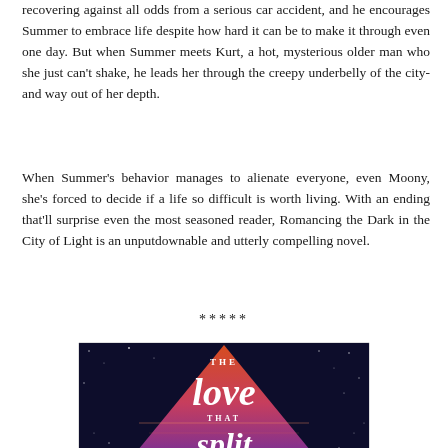recovering against all odds from a serious car accident, and he encourages Summer to embrace life despite how hard it can be to make it through even one day. But when Summer meets Kurt, a hot, mysterious older man who she just can't shake, he leads her through the creepy underbelly of the city-and way out of her depth.
When Summer's behavior manages to alienate everyone, even Moony, she's forced to decide if a life so difficult is worth living. With an ending that'll surprise even the most seasoned reader, Romancing the Dark in the City of Light is an unputdownable and utterly compelling novel.
*****
[Figure (illustration): Book cover for 'The Love That Split' showing script lettering on a colorful cosmic/sunset background with stars and a triangular warm-colored shape in the center.]